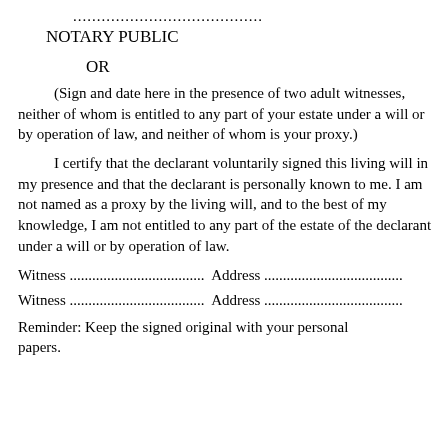........................................
NOTARY PUBLIC
OR
(Sign and date here in the presence of two adult witnesses, neither of whom is entitled to any part of your estate under a will or by operation of law, and neither of whom is your proxy.)
I certify that the declarant voluntarily signed this living will in my presence and that the declarant is personally known to me. I am not named as a proxy by the living will, and to the best of my knowledge, I am not entitled to any part of the estate of the declarant under a will or by operation of law.
Witness ....................................  Address ....................................
Witness ....................................  Address ....................................
Reminder: Keep the signed original with your personal papers.